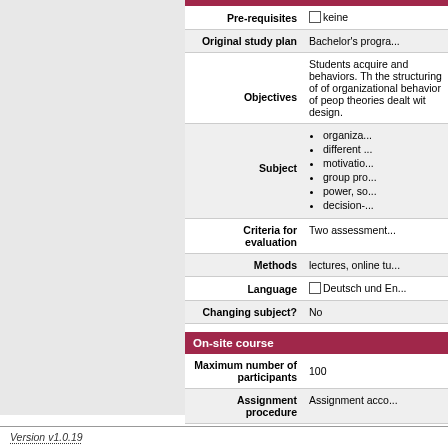| Field | Value |
| --- | --- |
| Pre-requisites | keine |
| Original study plan | Bachelor's progra... |
| Objectives | Students acquire and behaviors. The structuring of of organizational behavior of people theories dealt with design. |
| Subject | organizational..., different..., motivation..., group pro..., power, so..., decision-... |
| Criteria for evaluation | Two assessment... |
| Methods | lectures, online tu... |
| Language | Deutsch und En... |
| Changing subject? | No |
On-site course
| Field | Value |
| --- | --- |
| Maximum number of participants | 100 |
| Assignment procedure | Assignment acco... |
Version v1.0.19